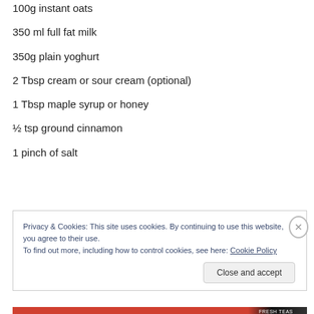100g instant oats
350 ml full fat milk
350g plain yoghurt
2 Tbsp cream or sour cream (optional)
1 Tbsp maple syrup or honey
½ tsp ground cinnamon
1 pinch of salt
Privacy & Cookies: This site uses cookies. By continuing to use this website, you agree to their use.
To find out more, including how to control cookies, see here: Cookie Policy
Close and accept